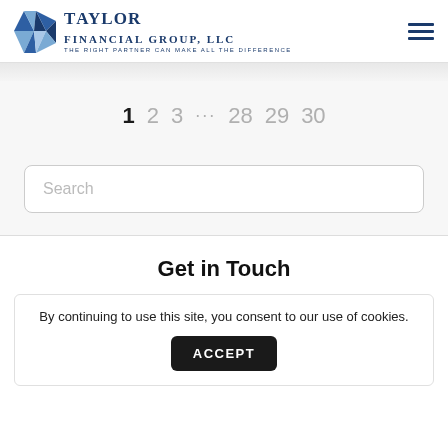Taylor Financial Group, LLC — THE RIGHT PARTNER CAN MAKE ALL THE DIFFERENCE
1  2  3  ···  28  29  30
Search
Get in Touch
By continuing to use this site, you consent to our use of cookies.
ACCEPT